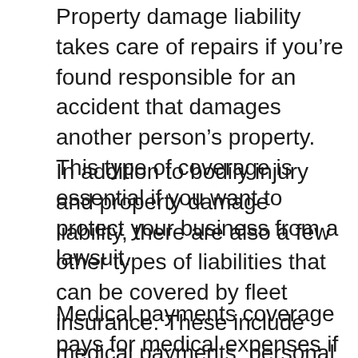Property damage liability takes care of repairs if you're found responsible for an accident that damages another person's property. This type of coverage is essential if you want to protect your business from a lawsuit.
In addition to bodily injury and property damage liability, there are also a few other types of liabilities that can be covered by fleet insurance. These include medical payments, personal injury protection, and uninsured/underinsured motorist coverage.
Medical payments coverage pays for medical expenses if you or your passengers are injured in an accident. This type of coverage is optional, but it's a good idea to have if you